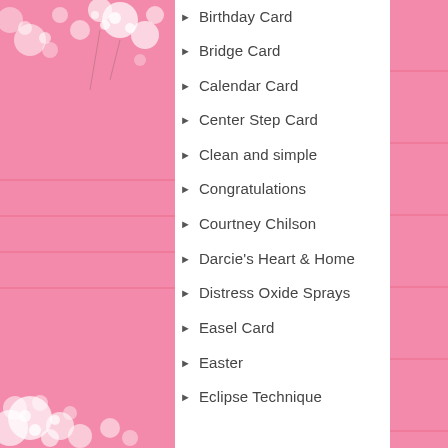Birthday Card
Bridge Card
Calendar Card
Center Step Card
Clean and simple
Congratulations
Courtney Chilson
Darcie's Heart & Home
Distress Oxide Sprays
Easel Card
Easter
Eclipse Technique